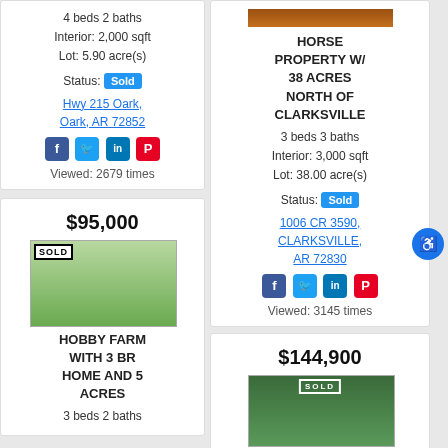4 beds 2 baths Interior: 2,000 sqft Lot: 5.90 acre(s)
Status: Sold
Hwy 215 Oark, Oark, AR 72852
Viewed: 2679 times
$95,000
[Figure (photo): SOLD stamp over property photo showing house with green lawn]
HOBBY FARM WITH 3 BR HOME AND 5 ACRES
3 beds 2 baths
[Figure (photo): Property thumbnail image at top of right column]
HORSE PROPERTY W/ 38 ACRES NORTH OF CLARKSVILLE
3 beds 3 baths Interior: 3,000 sqft Lot: 38.00 acre(s)
Status: Sold
1006 CR 3590, CLARKSVILLE, AR 72830
Viewed: 3145 times
$144,900
[Figure (photo): SOLD stamp over wooded property photo]